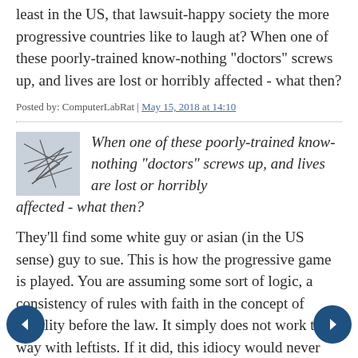least in the US, that lawsuit-happy society the more progressive countries like to laugh at? When one of these poorly-trained know-nothing "doctors" screws up, and lives are lost or horribly affected - what then?
Posted by: ComputerLabRat | May 15, 2018 at 14:10
[Figure (illustration): Small square avatar image showing abstract scribble lines on a grey-blue background]
When one of these poorly-trained know-nothing "doctors" screws up, and lives are lost or horribly affected - what then?
They'll find some white guy or asian (in the US sense) guy to sue. This is how the progressive game is played. You are assuming some sort of logic, a consistency of rules with faith in the concept of equality before the law. It simply does not work that way with leftists. If it did, this idiocy would never have gotten this far. We lacked the will to stand up to this nonsense and shut it down at the educational level and now it must persist into society as a